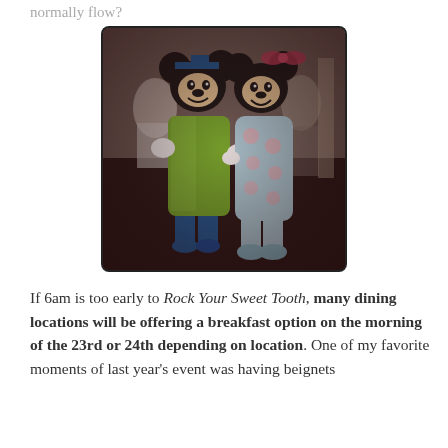normally flow?
[Figure (photo): Mickey Mouse and Minnie Mouse costumed characters posing together outdoors, Mickey wearing a green robe and graduation cap, Minnie wearing light blue polka-dot pajamas, in a Disney park setting.]
If 6am is too early to Rock Your Sweet Tooth, many dining locations will be offering a breakfast option on the morning of the 23rd or 24th depending on location. One of my favorite moments of last year's event was having beignets